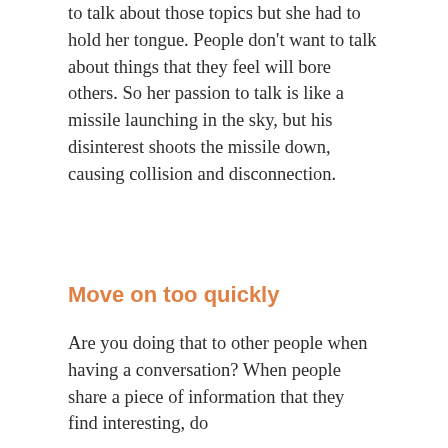to talk about those topics but she had to hold her tongue. People don't want to talk about things that they feel will bore others. So her passion to talk is like a missile launching in the sky, but his disinterest shoots the missile down, causing collision and disconnection.
Move on too quickly
Are you doing that to other people when having a conversation? When people share a piece of information that they find interesting, do